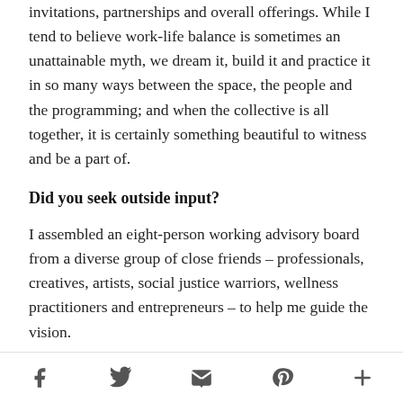invitations, partnerships and overall offerings. While I tend to believe work-life balance is sometimes an unattainable myth, we dream it, build it and practice it in so many ways between the space, the people and the programming; and when the collective is all together, it is certainly something beautiful to witness and be a part of.
Did you seek outside input?
I assembled an eight-person working advisory board from a diverse group of close friends – professionals, creatives, artists, social justice warriors, wellness practitioners and entrepreneurs – to help me guide the vision.
What is the cost of membership and what do you
f  t  [email]  p  +